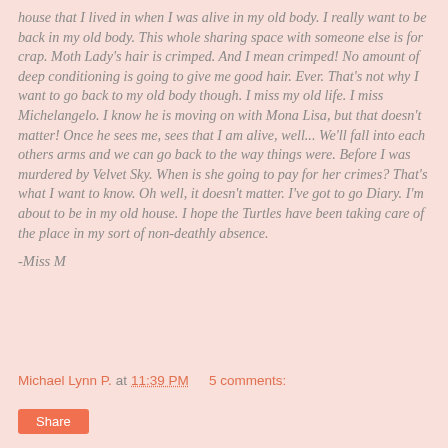house that I lived in when I was alive in my old body. I really want to be back in my old body. This whole sharing space with someone else is for crap. Moth Lady's hair is crimped. And I mean crimped! No amount of deep conditioning is going to give me good hair. Ever. That's not why I want to go back to my old body though. I miss my old life. I miss Michelangelo. I know he is moving on with Mona Lisa, but that doesn't matter! Once he sees me, sees that I am alive, well... We'll fall into each others arms and we can go back to the way things were. Before I was murdered by Velvet Sky. When is she going to pay for her crimes? That's what I want to know. Oh well, it doesn't matter. I've got to go Diary. I'm about to be in my old house. I hope the Turtles have been taking care of the place in my sort of non-deathly absence.
-Miss M
Michael Lynn P. at 11:39 PM   5 comments:
Share